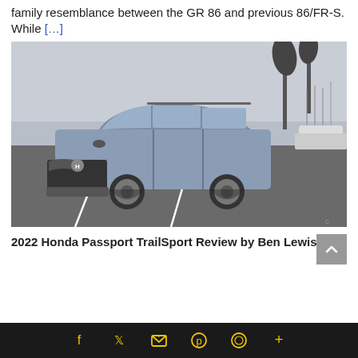family resemblance between the GR 86 and previous 86/FR-S. While [...]
[Figure (photo): A silver/blue Honda Passport TrailSport SUV parked in a parking lot near a marina with palm trees in the background, overcast sky. Black and white toned photo.]
2022 Honda Passport TrailSport Review by Ben Lewis
Social share icons: Facebook, Twitter, Email, Pinterest, WhatsApp, More